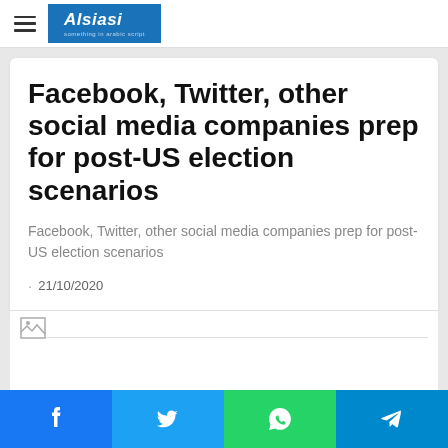Alsiasi
Facebook, Twitter, other social media companies prep for post-US election scenarios
Facebook, Twitter, other social media companies prep for post-US election scenarios
21/10/2020
[Figure (photo): Broken image placeholder]
Social share buttons: Facebook, Twitter, WhatsApp, Telegram